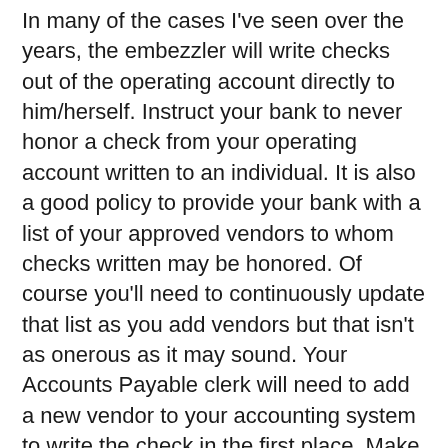In many of the cases I've seen over the years, the embezzler will write checks out of the operating account directly to him/herself. Instruct your bank to never honor a check from your operating account written to an individual. It is also a good policy to provide your bank with a list of your approved vendors to whom checks written may be honored. Of course you'll need to continuously update that list as you add vendors but that isn't as onerous as it may sound. Your Accounts Payable clerk will need to add a new vendor to your accounting system to write the check in the first place. Make communicating these vendor updates with your bank a part of that same process as setting up the new vendor in your accounting system.